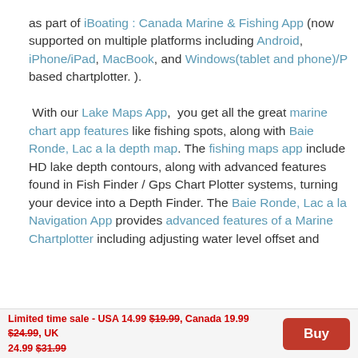as part of iBoating : Canada Marine & Fishing App (now supported on multiple platforms including Android, iPhone/iPad, MacBook, and Windows(tablet and phone)/PC based chartplotter. ).

With our Lake Maps App, you get all the great marine chart app features like fishing spots, along with Baie Ronde, Lac a la depth map. The fishing maps app include HD lake depth contours, along with advanced features found in Fish Finder / Gps Chart Plotter systems, turning your device into a Depth Finder. The Baie Ronde, Lac a la Navigation App provides advanced features of a Marine Chartplotter including adjusting water level offset and
Limited time sale - USA 14.99 $19.99, Canada 19.99 $24.99, UK 24.99 $31.99  [Buy]